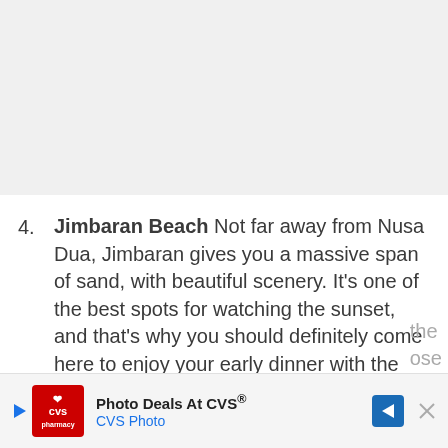[Figure (photo): Gray placeholder area representing a cropped photo, likely of a beach or scenic location.]
4. Jimbaran Beach Not far away from Nusa Dua, Jimbaran gives you a massive span of sand, with beautiful scenery. It’s one of the best spots for watching the sunset, and that’s why you should definitely come here to enjoy your early dinner with the freshest seafood. Their beachfront
[Figure (other): CVS Photo advertisement banner at the bottom of the page showing CVS pharmacy logo, the text 'Photo Deals At CVS®' and 'CVS Photo', a navigation arrow icon, and partial text 'the' and 'ose' on the right edge.]